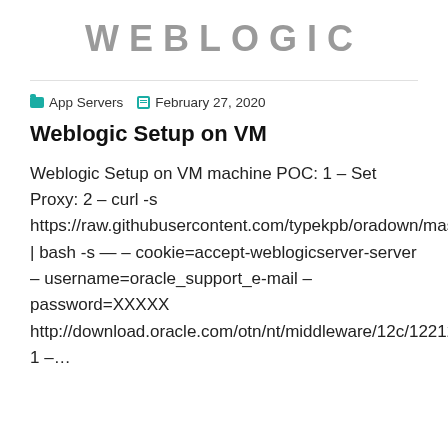WEBLOGIC
App Servers   February 27, 2020
Weblogic Setup on VM
Weblogic Setup on VM machine POC: 1 – Set Proxy: 2 – curl -s https://raw.githubusercontent.com/typekpb/oradown/master/oradown.sh | bash -s — – cookie=accept-weblogicserver-server – username=oracle_support_e-mail – password=XXXXX http://download.oracle.com/otn/nt/middleware/12c/12212/fmw_12.2.1.2.0_wls_Disk1_1of1.zip 1 –…